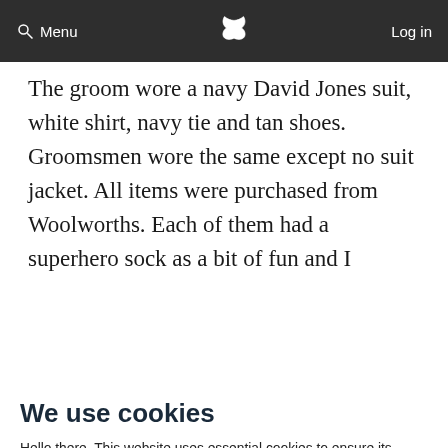Menu  [logo]  Log in
The groom wore a navy David Jones suit, white shirt, navy tie and tan shoes. Groomsmen wore the same except no suit jacket. All items were purchased from Woolworths. Each of them had a superhero sock as a bit of fun and I
We use cookies
Hello there. This website uses essential cookies to ensure its proper operation. We also use tracking cookies to understand how you interact with it - these will only be set upon your approval. Read more
Accept
Settings